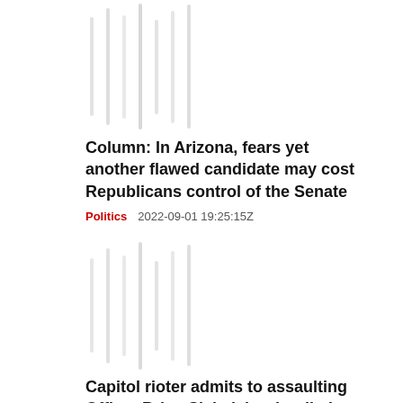[Figure (photo): Blurred/loading image placeholder with vertical gray bar strips]
Column: In Arizona, fears yet another flawed candidate may cost Republicans control of the Senate
Politics   2022-09-01 19:25:15Z
[Figure (photo): Blurred/loading image placeholder with vertical gray bar strips]
Capitol rioter admits to assaulting Officer Brian Sicknick, who died after Jan. 6
Politics   2022-09-01 19:23:41Z
[Figure (photo): Blurred/loading image placeholder with vertical gray bar strips (partial, bottom of page)]